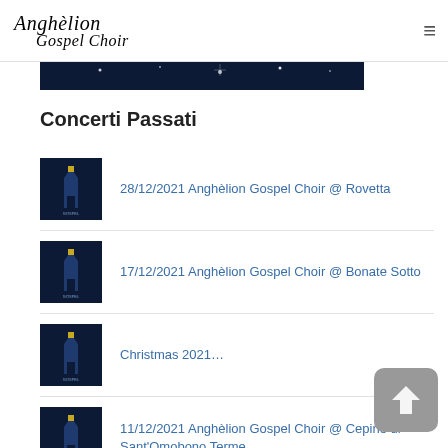Anghèlion Gospel Choir
[Figure (photo): Dark banner image strip showing night sky or decorative lights background]
Concerti Passati
28/12/2021 Anghèlion Gospel Choir @ Rovetta
17/12/2021 Anghèlion Gospel Choir @ Bonate Sotto
Christmas 2021…
11/12/2021 Anghèlion Gospel Choir @ Cepino di Sant'Omobono Terme